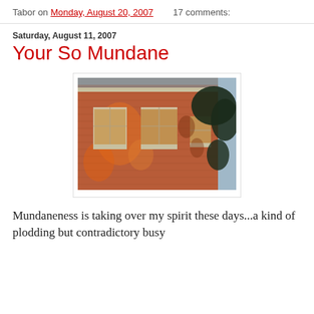Tabor on Monday, August 20, 2007   17 comments:
Saturday, August 11, 2007
Your So Mundane
[Figure (photo): Photograph of a red brick building facade with windows, illuminated by warm orange sunset light with tree shadows cast on the brick wall.]
Mundaneness is taking over my spirit these days...a kind of plodding but contradictory busy